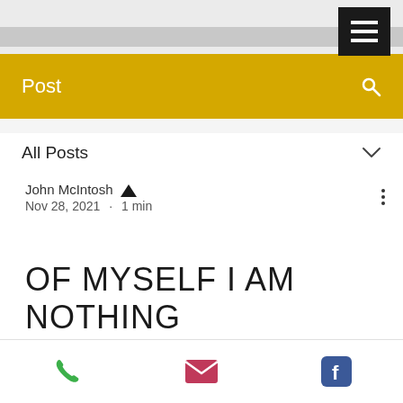[Figure (screenshot): Mobile app navigation bar with hamburger menu button (black square with three white lines) on gray background]
Post
All Posts
John McIntosh [admin crown] Nov 28, 2021 · 1 min
OF MYSELF I AM NOTHING
JOHN MCINTOSH
[Figure (infographic): Mobile bottom navigation bar with phone (green), email (pink), and Facebook (blue) icons]